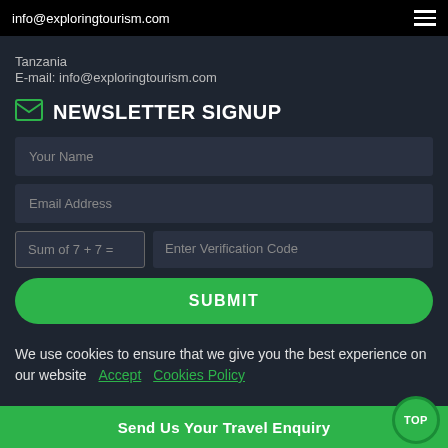info@exploringtourism.com
Tanzania
E-mail: info@exploringtourism.com
NEWSLETTER SIGNUP
Your Name
Email Address
Sum of 7 + 7 =
Enter Verification Code
SUBMIT
We use cookies to ensure that we give you the best experience on our website  Accept  Cookies Policy
Send Us Your Travel Enquiry